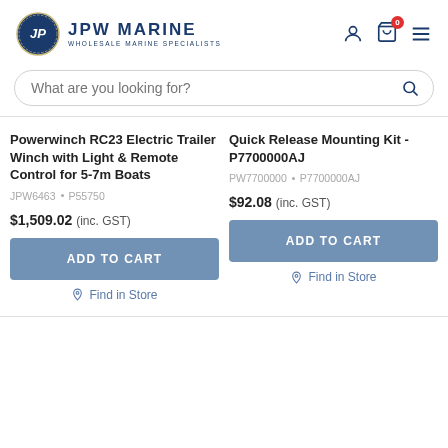[Figure (logo): JPW Marine logo - circular blue emblem with rope border and JP letters, beside text 'JPW MARINE WHOLESALE MARINE SPECIALISTS']
[Figure (screenshot): Search bar with placeholder text 'What are you looking for?' and search icon on right]
Powerwinch RC23 Electric Trailer Winch with Light & Remote Control for 5-7m Boats
JPW6463 · P55750
$1,509.02 (inc. GST)
ADD TO CART
Find in Store
Quick Release Mounting Kit - P7700000AJ
PW7700000 · P7700000AJ
$92.08 (inc. GST)
ADD TO CART
Find in Store